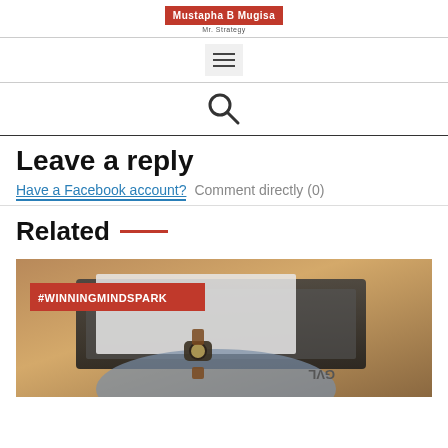Mustapha B Mugisa | Mr. Strategy
[Figure (other): Hamburger menu icon button with three horizontal lines]
[Figure (other): Search magnifying glass icon]
Leave a reply
Have a Facebook account? Comment directly (0)
Related
[Figure (photo): Photo of a businessman with a watch and cufflinks working on documents at a wooden desk, with a red label tag #WINNINGMINDSPARK overlaid]